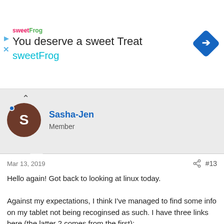[Figure (illustration): sweetFrog advertisement banner with logo, headline 'You deserve a sweet Treat', subtext 'sweetFrog', and a blue diamond navigation icon]
Sasha-Jen
Member
Mar 13, 2019
#13
Hello again! Got back to looking at linux today.

Against my expectations, I think I've managed to find some info on my tablet not being recoginsed as such. I have three links here (the latter 2 comes from the first):
https://www.reddit.com/r/linux4noobs/comments/8r4fth/how_can_i_get_my_xppen_g640_to_work_with_linux/
https://blog.thepoon.fr/XPPenLinux/